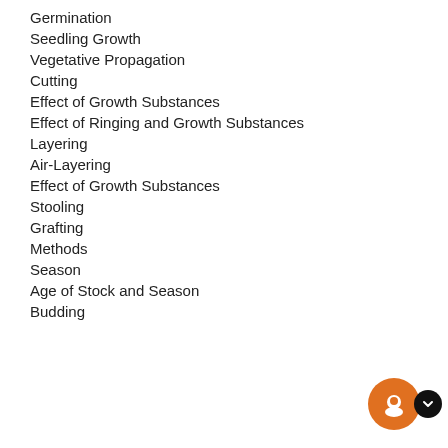Germination
Seedling Growth
Vegetative Propagation
Cutting
Effect of Growth Substances
Effect of Ringing and Growth Substances
Layering
Air-Layering
Effect of Growth Substances
Stooling
Grafting
Methods
Season
Age of Stock and Season
Budding